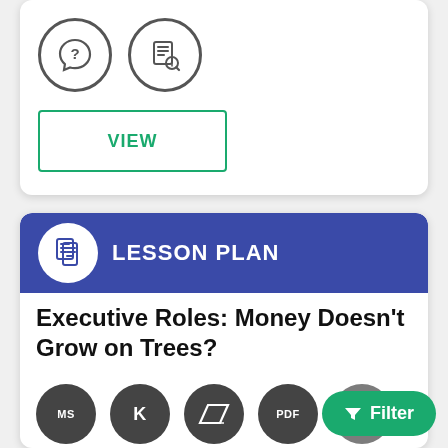[Figure (illustration): Two circular icons: a chat bubble with question mark, and a document with magnifying glass]
[Figure (illustration): VIEW button with green border]
[Figure (illustration): Lesson Plan card with blue header, document icon, and title 'Executive Roles: Money Doesn't Grow on Trees?']
Executive Roles: Money Doesn't Grow on Trees?
[Figure (illustration): Row of dark circular badge icons: MS, K, parallelogram logo, PDF, and partial icon. Green Filter button.]